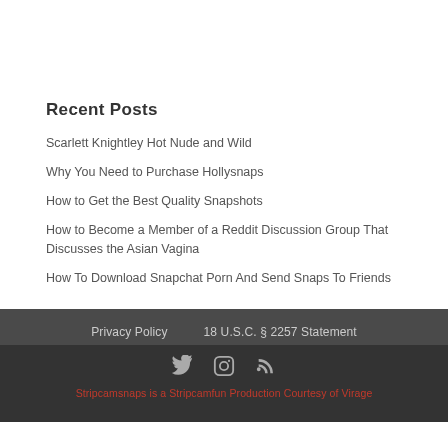Recent Posts
Scarlett Knightley Hot Nude and Wild
Why You Need to Purchase Hollysnaps
How to Get the Best Quality Snapshots
How to Become a Member of a Reddit Discussion Group That Discusses the Asian Vagina
How To Download Snapchat Porn And Send Snaps To Friends
Privacy Policy   18 U.S.C. § 2257 Statement
Stripcamsnaps is a Stripcamfun Production Courtesy of Virage